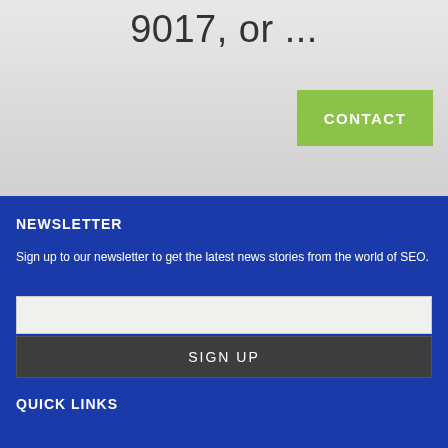9017, or ...
[Figure (other): Green CONTACT button on gray gradient background]
NEWSLETTER
Sign up to our newsletter to get the latest news stories from the world of SEO.
[Figure (other): Email input text field]
[Figure (other): SIGN UP button]
QUICK LINKS